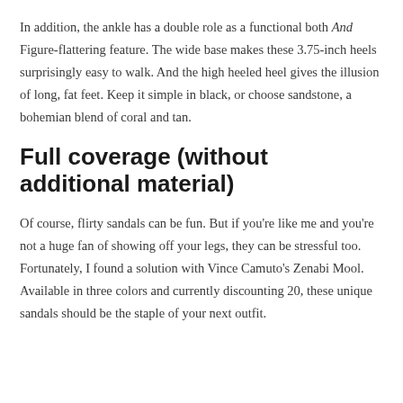In addition, the ankle has a double role as a functional both And Figure-flattering feature. The wide base makes these 3.75-inch heels surprisingly easy to walk. And the high heeled heel gives the illusion of long, fat feet. Keep it simple in black, or choose sandstone, a bohemian blend of coral and tan.
Full coverage (without additional material)
Of course, flirty sandals can be fun. But if you're like me and you're not a huge fan of showing off your legs, they can be stressful too. Fortunately, I found a solution with Vince Camuto's Zenabi Mool. Available in three colors and currently discounting 20, these unique sandals should be the staple of your next outfit.